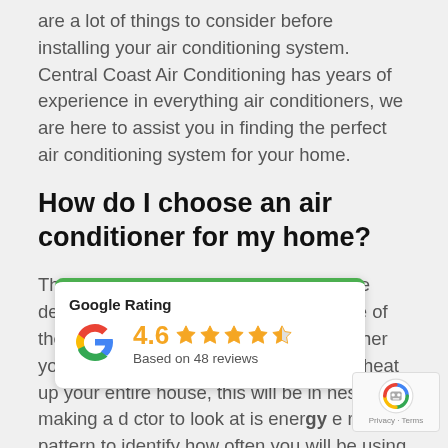are a lot of things to consider before installing your air conditioning system. Central Coast Air Conditioning has years of experience in everything air conditioners, we are here to assist you in finding the perfect air conditioning system for your home.
How do I choose an air conditioner for my home?
The first thing you want to assess before deciding on an air conditioner is the size of the area you want to heat or cool. Whether you want to cool down one-bedroom or heat up your entire house, this will be in ... nes to making a d... ctor to look at is energy e... r usage pattern to identify how often you will be using the air conditioner. 5 star AC's are not always better than 3
[Figure (other): Google Rating widget showing 4.6 stars based on 48 reviews, with Google G logo and orange star rating.]
[Figure (other): reCAPTCHA badge with robot icon and Privacy - Terms text]